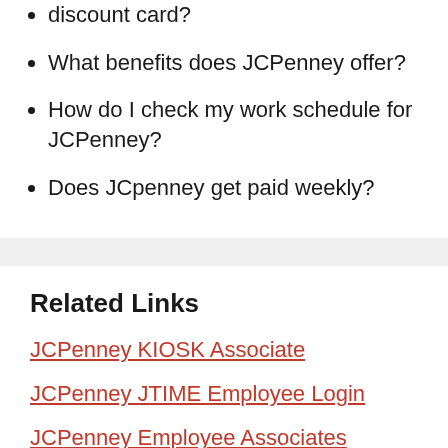discount card?
What benefits does JCPenney offer?
How do I check my work schedule for JCPenney?
Does JCpenney get paid weekly?
Related Links
JCPenney KIOSK Associate
JCPenney JTIME Employee Login
JCPenney Employee Associates